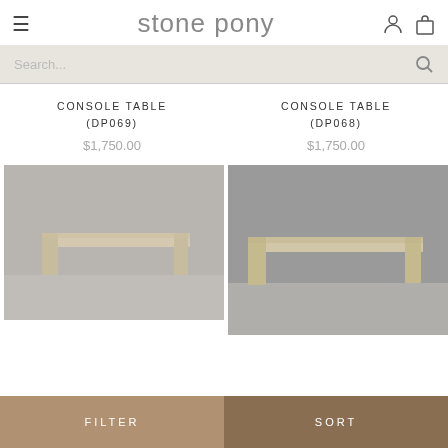stone pony
Search...
CONSOLE TABLE (DP069)
$1,750.00
CONSOLE TABLE (DP068)
$1,750.00
[Figure (photo): Console table DP069 - a minimalist rectangular wooden console table photographed against a grey wall on a grey floor]
[Figure (photo): Console table DP068 - a minimalist rectangular wooden console table photographed against a grey wall on a grey floor]
FILTER
SORT